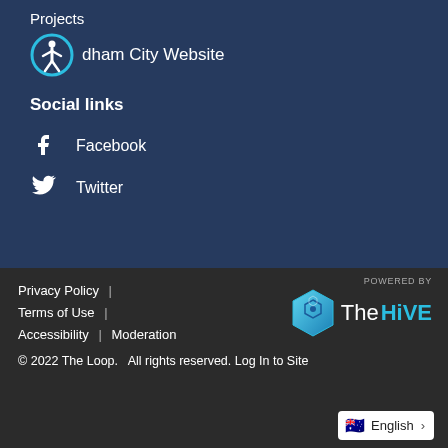Projects
[Figure (illustration): Accessibility icon: person inside a circle with cyan border, followed by text 'dham City Website']
Social links
Facebook
Twitter
Privacy Policy  |  Terms of Use  |  Accessibility  |  Moderation  © 2022 The Loop.  All rights reserved.  Log In to Site
[Figure (logo): POWERED BY The HiVE logo with hexagon icon in cyan/blue]
English